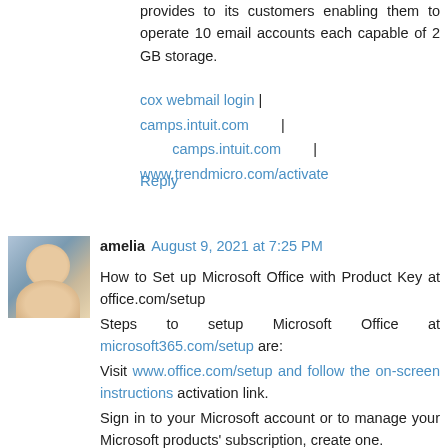provides to its customers enabling them to operate 10 email accounts each capable of 2 GB storage.
cox webmail login | camps.intuit.com | camps.intuit.com | www.trendmicro.com/activate
Reply
[Figure (photo): Avatar photo of user amelia — woman with light hair, outdoor background]
amelia  August 9, 2021 at 7:25 PM
How to Set up Microsoft Office with Product Key at office.com/setup
Steps to setup Microsoft Office at microsoft365.com/setup are:
Visit www.office.com/setup and follow the on-screen instructions activation link.
Sign in to your Microsoft account or to manage your Microsoft products' subscription, create one.
Enter your product key or code and click Next.
When your account successfully associated with the key, you'll see the page "My Office account".
Now, Select Install and follow the on-screen instructions.